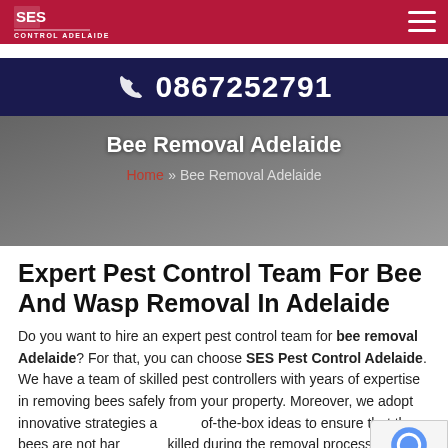SES Pest Control Adelaide
0867252791
Bee Removal Adelaide
Home » Bee Removal Adelaide
Expert Pest Control Team For Bee And Wasp Removal In Adelaide
Do you want to hire an expert pest control team for bee removal Adelaide? For that, you can choose SES Pest Control Adelaide. We have a team of skilled pest controllers with years of expertise in removing bees safely from your property. Moreover, we adopt innovative strategies and out-of-the-box ideas to ensure that the bees are not harmed or killed during the removal process. Furthermore, our expert